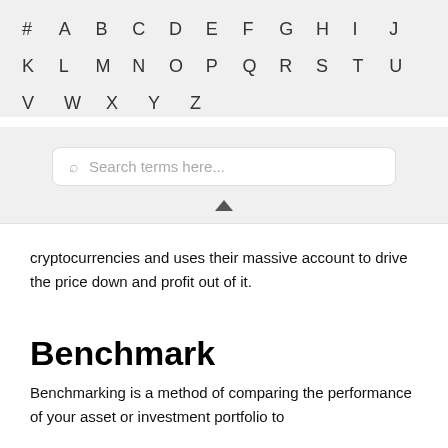# A B C D E F G H I J K L M N O P Q R S T U V W X Y Z
[Figure (other): Search bar with placeholder text 'Search terms here...' and a collapse/chevron-up button]
cryptocurrencies and uses their massive account to drive the price down and profit out of it.
Benchmark
Benchmarking is a method of comparing the performance of your asset or investment portfolio to